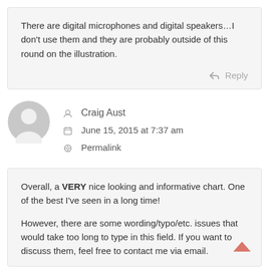There are digital microphones and digital speakers…I don't use them and they are probably outside of this round on the illustration.
Reply
Craig Aust
June 15, 2015 at 7:37 am
Permalink
Overall, a VERY nice looking and informative chart. One of the best I've seen in a long time!

However, there are some wording/typo/etc. issues that would take too long to type in this field. If you want to discuss them, feel free to contact me via email.